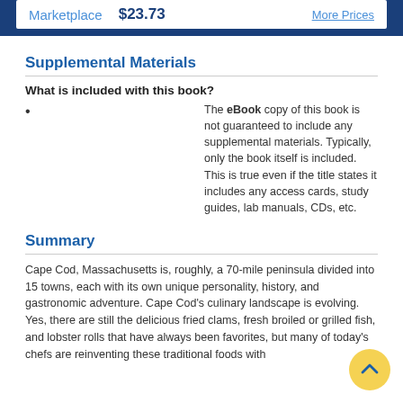Marketplace   $23.73   More Prices
Supplemental Materials
What is included with this book?
The eBook copy of this book is not guaranteed to include any supplemental materials. Typically, only the book itself is included. This is true even if the title states it includes any access cards, study guides, lab manuals, CDs, etc.
Summary
Cape Cod, Massachusetts is, roughly, a 70-mile peninsula divided into 15 towns, each with its own unique personality, history, and gastronomic adventure. Cape Cod's culinary landscape is evolving. Yes, there are still the delicious fried clams, fresh broiled or grilled fish, and lobster rolls that have always been favorites, but many of today's chefs are reinventing these traditional foods with